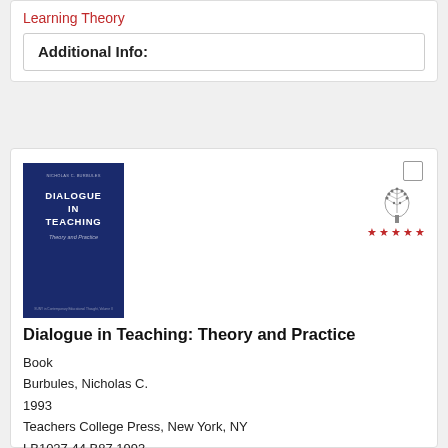Learning Theory
Additional Info:
[Figure (illustration): Book cover of 'Dialogue in Teaching: Theory and Practice' by Nicholas C. Burbules, dark navy blue cover with white text]
Dialogue in Teaching: Theory and Practice
Book
Burbules, Nicholas C.
1993
Teachers College Press, New York, NY
LB1027.44.B87 1993
Topics: Discussion | Constructivist & Active Learning Theory